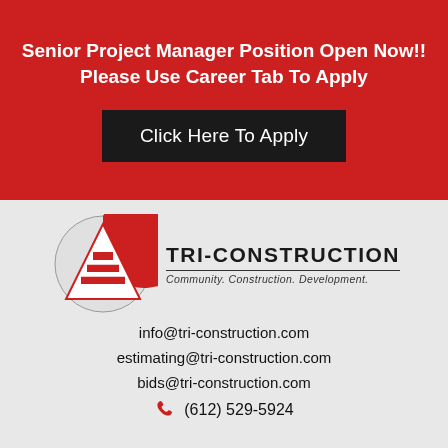Senior Project Manager Position Open Now!! Please Use Career Tab To Apply
Click Here To Apply
[Figure (logo): Tri-Construction logo with red triangle/pyramid on circular background and company name TRI-CONSTRUCTION with tagline Community. Construction. Development.]
info@tri-construction.com
estimating@tri-construction.com
bids@tri-construction.com
(612) 529-5924